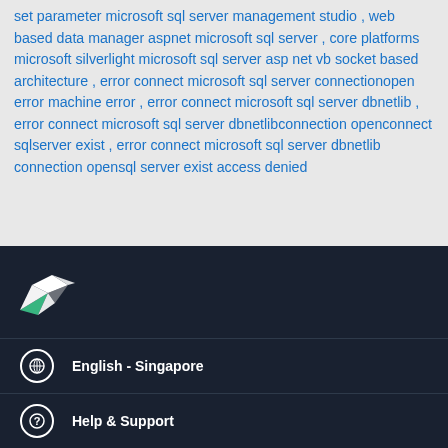set parameter microsoft sql server management studio , web based data manager aspnet microsoft sql server , core platforms microsoft silverlight microsoft sql server asp net vb socket based architecture , error connect microsoft sql server connectionopen error machine error , error connect microsoft sql server dbnetlib , error connect microsoft sql server dbnetlibconnection openconnect sqlserver exist , error connect microsoft sql server dbnetlib connection opensql server exist access denied
[Figure (logo): Freelancer.com bird/hummingbird logo in white on dark navy background]
English - Singapore
Help & Support